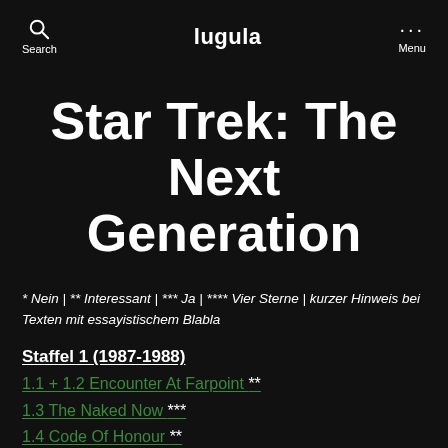Search | lugula | Menu
Star Trek: The Next Generation
* Nein | ** Interessant | *** Ja | **** Vier Sterne | kurzer Hinweis bei Texten mit essayistischem Blabla
Staffel 1 (1987-1988)
1.1 + 1.2 Encounter At Farpoint **
1.3 The Naked Now ***
1.4 Code Of Honour **
1.5 The Last Outpost **